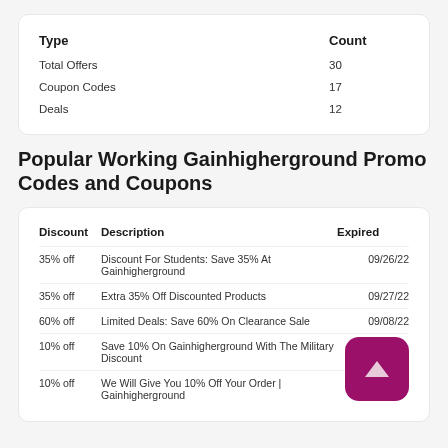| Type | Count |
| --- | --- |
| Total Offers | 30 |
| Coupon Codes | 17 |
| Deals | 12 |
Popular Working Gainhigherground Promo Codes and Coupons
| Discount | Description | Expired |
| --- | --- | --- |
| 35% off | Discount For Students: Save 35% At Gainhigherground | 09/26/22 |
| 35% off | Extra 35% Off Discounted Products | 09/27/22 |
| 60% off | Limited Deals: Save 60% On Clearance Sale | 09/08/22 |
| 10% off | Save 10% On Gainhigherground With The Military Discount |  |
| 10% off | We Will Give You 10% Off Your Order | Gainhigherground | 05/15/22 |